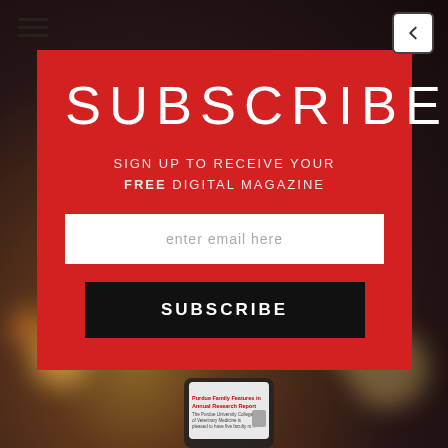[Figure (screenshot): Mobile app subscription overlay on a dark bokeh background with a red panel containing subscribe UI]
SUBSCRIBE
SIGN UP TO RECEIVE YOUR FREE DIGITAL MAGAZINE
enter email here
SUBSCRIBE